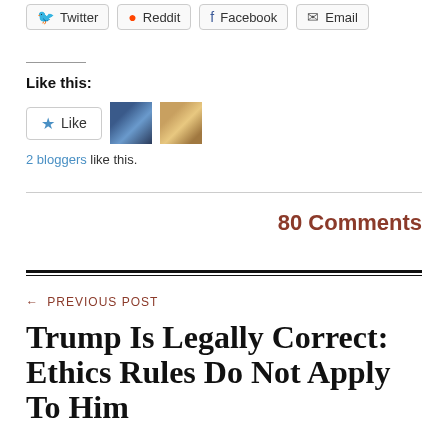Twitter  Reddit  Facebook  Email
Like this:
Like  [avatar1] [avatar2]
2 bloggers like this.
80 Comments
← PREVIOUS POST
Trump Is Legally Correct: Ethics Rules Do Not Apply To Him